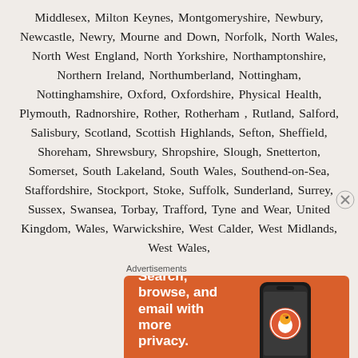Middlesex, Milton Keynes, Montgomeryshire, Newbury, Newcastle, Newry, Mourne and Down, Norfolk, North Wales, North West England, North Yorkshire, Northamptonshire, Northern Ireland, Northumberland, Nottingham, Nottinghamshire, Oxford, Oxfordshire, Physical Health, Plymouth, Radnorshire, Rother, Rotherham, Rutland, Salford, Salisbury, Scotland, Scottish Highlands, Sefton, Sheffield, Shoreham, Shrewsbury, Shropshire, Slough, Snetterton, Somerset, South Lakeland, South Wales, Southend-on-Sea, Staffordshire, Stockport, Stoke, Suffolk, Sunderland, Surrey, Sussex, Swansea, Torbay, Trafford, Tyne and Wear, United Kingdom, Wales, Warwickshire, West Calder, West Midlands, West Wales,
Advertisements
[Figure (other): DuckDuckGo advertisement banner with orange background. Text reads: Search, browse, and email with more privacy. All in One Free App. Shows a smartphone with DuckDuckGo logo and DuckDuckGo. branding.]